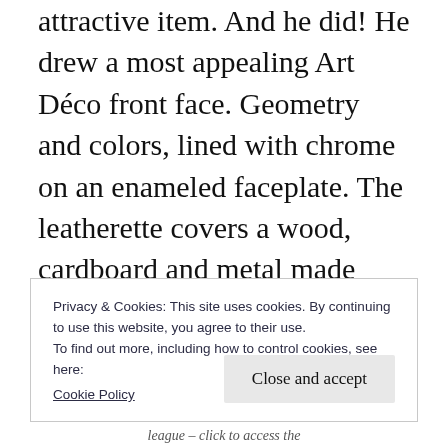attractive item. And he did! He drew a most appealing Art Déco front face. Geometry and colors, lined with chrome on an enameled faceplate. The leatherette covers a wood, cardboard and metal made body, and takes a similar tone as the facade.
Privacy & Cookies: This site uses cookies. By continuing to use this website, you agree to their use.
To find out more, including how to control cookies, see here:
Cookie Policy
Close and accept
league – click to access the